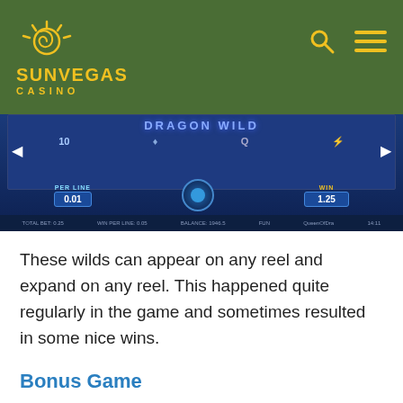SunVegas Casino
[Figure (screenshot): Casino slot game screenshot showing PER LINE 0.01 and WIN 1.25 display]
These wilds can appear on any reel and expand on any reel. This happened quite regularly in the game and sometimes resulted in some nice wins.
Bonus Game
The Snowflake Bonus symbol is the first of two scatters. Land three of these symbols to launch the bonus game. You'll start the game with tree spin. There is a meter on the side with multipliers from 3x to 500x. For every 5 snowflake symbols you